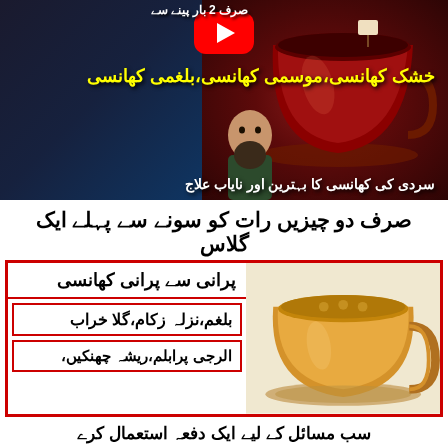[Figure (photo): YouTube video thumbnail showing tea cup with Urdu text overlay about cough remedies, person with beard visible, YouTube play button]
[Figure (infographic): Urdu health infographic with yellow tea/herbal drink cup image, red bordered boxes listing ailments (old cough, phlegm, nasal congestion, sore throat, allergy problems, sneezing) with Urdu text]